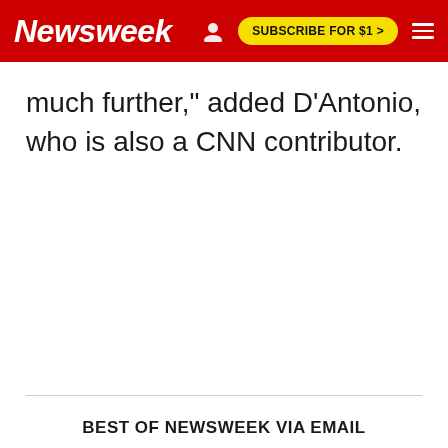Newsweek | SUBSCRIBE FOR $1 >
much further," added D'Antonio, who is also a CNN contributor.
BEST OF NEWSWEEK VIA EMAIL